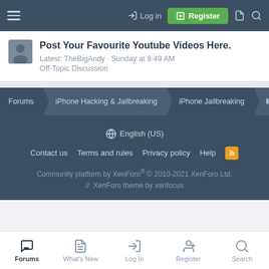Log in  Register
Post Your Favourite Youtube Videos Here.
Latest: TheBigAndy · Sunday at 9:49 AM
Off-Topic Discussion
Forums > iPhone Hacking & Jailbreaking > iPhone Jailbreaking > iPho...
🌐 English (US)
Contact us   Terms and rules   Privacy policy   Help   RSS
Community platform by XenForo® © 2010-2021 XenForo Ltd. // XenForo theme by xenfocus
Forums   What's New   Log In   Register   Search